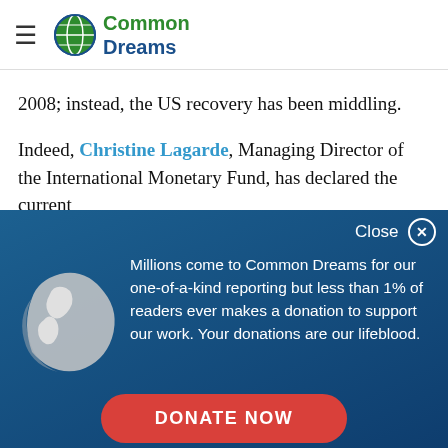Common Dreams
2008; instead, the US recovery has been middling.
Indeed, Christine Lagarde, Managing Director of the International Monetary Fund, has declared the current
Close
Millions come to Common Dreams for our one-of-a-kind reporting but less than 1% of readers ever makes a donation to support our work. Your donations are our lifeblood.
[Figure (illustration): White globe/earth icon on dark blue background]
DONATE NOW